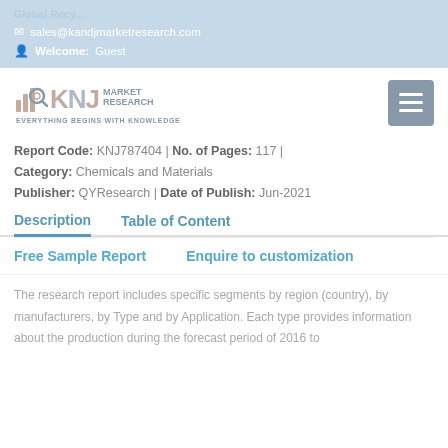sales@kandjmarketresearch.com | Welcome: Guest
[Figure (logo): KNJ Market Research logo with tagline 'Everything Begins with Knowledge']
Report Code: KNJ787404 | No. of Pages: 117 | Category: Chemicals and Materials
Publisher: QYResearch | Date of Publish: Jun-2021
Description   Table of Content
Free Sample Report   Enquire to customization
The research report includes specific segments by region (country), by manufacturers, by Type and by Application. Each type provides information about the production during the forecast period of 2016 to